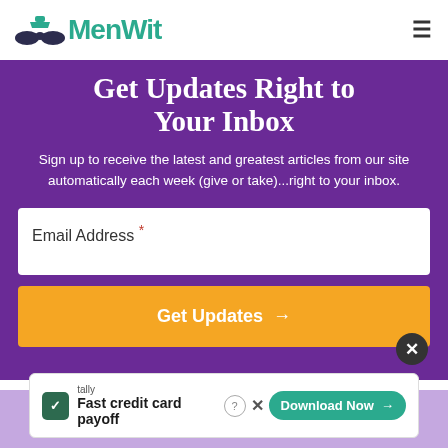MenWit
Get Updates Right to Your Inbox
Sign up to receive the latest and greatest articles from our site automatically each week (give or take)...right to your inbox.
Email Address *
Get Updates →
[Figure (screenshot): Tally advertisement banner with 'Fast credit card payoff' text and 'Download Now' button]